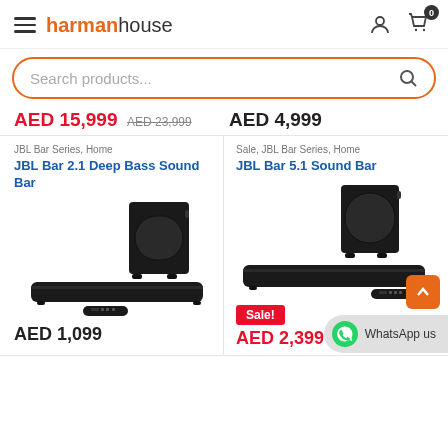harmanhouse
Search products...
AED 15,999  AED 23,999    AED 4,999
JBL Bar Series, Home
JBL Bar 2.1 Deep Bass Sound Bar
Sale, JBL Bar Series, Home
JBL Bar 5.1 Sound Bar
[Figure (photo): JBL Bar 2.1 Deep Bass Sound Bar with subwoofer and remote]
[Figure (photo): JBL Bar 5.1 Sound Bar with subwoofer and remote, Sale badge shown]
AED 1,099
Sale!  AED 2,399  AED 2,999
WhatsApp us